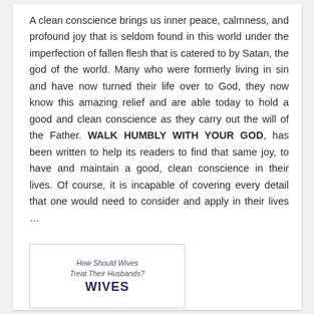A clean conscience brings us inner peace, calmness, and profound joy that is seldom found in this world under the imperfection of fallen flesh that is catered to by Satan, the god of the world. Many who were formerly living in sin and have now turned their life over to God, they now know this amazing relief and are able today to hold a good and clean conscience as they carry out the will of the Father. WALK HUMBLY WITH YOUR GOD, has been written to help its readers to find that same joy, to have and maintain a good, clean conscience in their lives. Of course, it is incapable of covering every detail that one would need to consider and apply in their lives …
[Figure (other): Book cover preview box showing title text: 'How Should Wives Treat Their Husbands?' and large bold text 'WIVES']